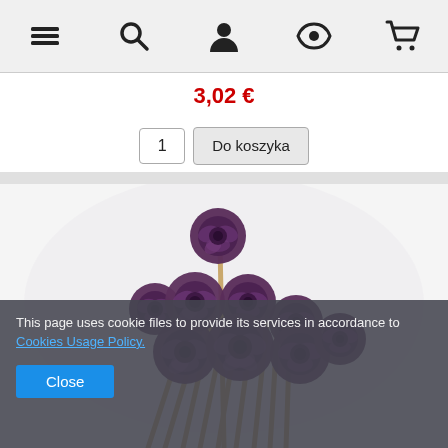[Figure (screenshot): Mobile e-commerce navigation bar with icons: hamburger menu, search, user/account, eye/wishlist, shopping cart]
3,02 €
1  Do koszyka
[Figure (photo): Bunch of purple/dark rose flowers on wooden sticks, arranged in a bouquet, photographed on a white background]
This page uses cookie files to provide its services in accordance to Cookies Usage Policy.
Close